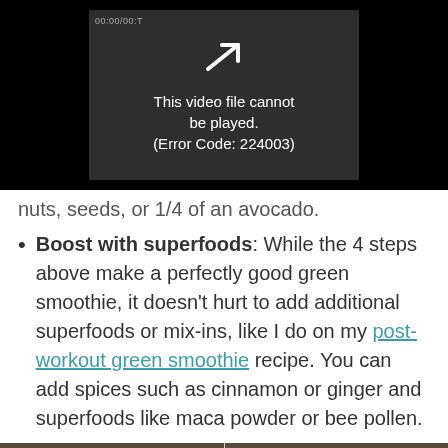[Figure (screenshot): Video player showing error message: 'This video file cannot be played. (Error Code: 224003)' on dark background]
nuts, seeds, or 1/4 of an avocado.
Boost with superfoods: While the 4 steps above make a perfectly good green smoothie, it doesn't hurt to add additional superfoods or mix-ins, like I do on my post-workout green smoothie recipe. You can add spices such as cinnamon or ginger and superfoods like maca powder or bee pollen.
[Figure (photo): Two photos of green smoothies in glass jars on a counter]